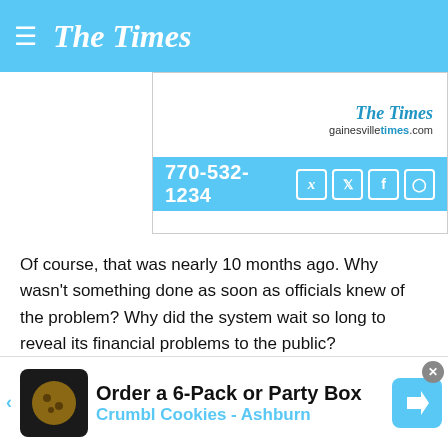The Times
[Figure (logo): The Times newspaper ad banner with phone number 770-532-1234 and social media icons]
Of course, that was nearly 10 months ago. Why wasn't something done as soon as officials knew of the problem? Why did the system wait so long to reveal its financial problems to the public?
If the letter in question was discovered last fall after Adams left, and school officials knew that the money coming in wasn't meeting projections, they could have acted sooner and more decisively.
Freezing some expenses and jobs helps a bit, but not $8 million worth. More drastic moves were needed at the time, along with a full public
[Figure (advertisement): Crumbl Cookies - Ashburn advertisement: Order a 6-Pack or Party Box]